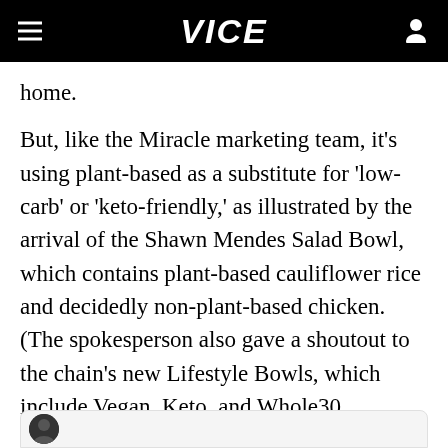VICE
home.
But, like the Miracle marketing team, it's using plant-based as a substitute for 'low-carb' or 'keto-friendly,' as illustrated by the arrival of the Shawn Mendes Salad Bowl, which contains plant-based cauliflower rice and decidedly non-plant-based chicken. (The spokesperson also gave a shoutout to the chain's new Lifestyle Bowls, which include Vegan, Keto, and Whole30 compliant options, all of which are built on a generous scoop of cauliflower rice).
[Figure (other): Bottom card with avatar image, partially visible at bottom of page]